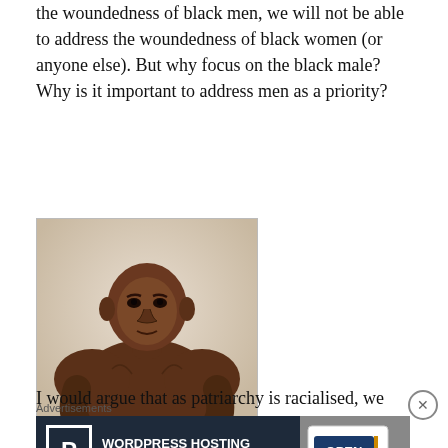the woundedness of black men, we will not be able to address the woundedness of black women (or anyone else). But why focus on the black male? Why is it important to address men as a priority?
[Figure (photo): A muscular Black man leaning forward, shirtless, with a serious expression, photographed against a light background.]
I would argue that as patriarchy is racialised, we can discern its contemporary workings in the market objectification or fetishisation of
[Figure (screenshot): Advertisement banner: WordPress Hosting That Means BUSINESS. with a P logo box on the left and an OPEN sign image on the right.]
Advertisements